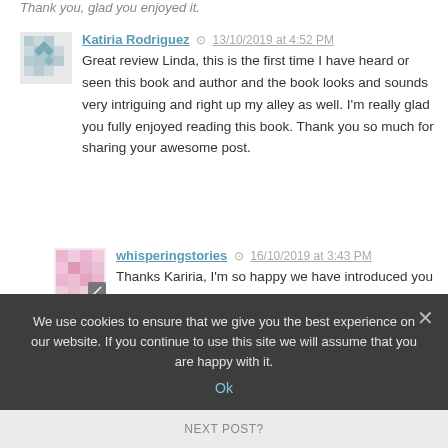Thank you, glad you enjoyed it.
Katiria Rodriguez · 13/10/2019 at 4:52 PM
Great review Linda, this is the first time I have heard or seen this book and author and the book looks and sounds very intriguing and right up my alley as well. I'm really glad you fully enjoyed reading this book. Thank you so much for sharing your awesome post.
whisperingstories · 16/10/2019 at 3:43 PM
Thanks Kariria, I'm so happy we have introduced you to a new author.
We use cookies to ensure that we give you the best experience on our website. If you continue to use this site we will assume that you are happy with it.
Ok
NEXT POST?